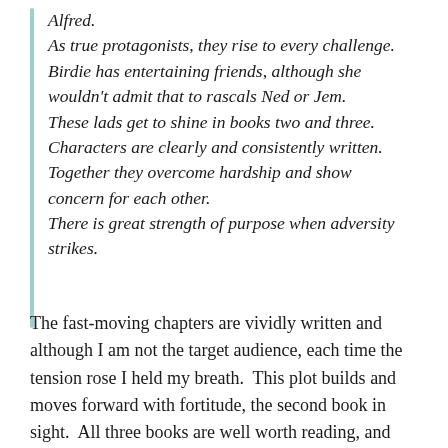Alfred.
As true protagonists, they rise to every challenge. Birdie has entertaining friends, although she wouldn't admit that to rascals Ned or Jem. These lads get to shine in books two and three. Characters are clearly and consistently written. Together they overcome hardship and show concern for each other.
There is great strength of purpose when adversity strikes.
The fast-moving chapters are vividly written and although I am not the target audience, each time the tension rose I held my breath.  This plot builds and moves forward with fortitude, the second book in sight.  All three books are well worth reading, and while the mood may get darker and the bogles may get messier, the sequence of events lead to a very satisfying conclusion.